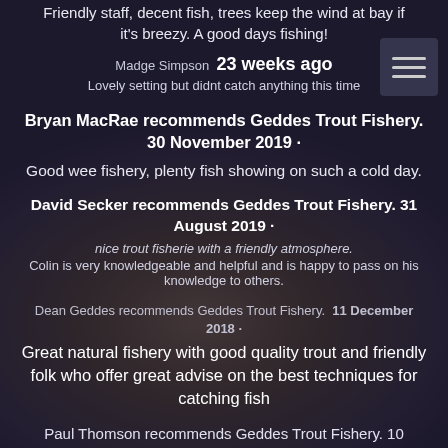Friendly staff, decent fish, trees keep the wind at bay if it's breezy. A good days fishing!
Madge Simpson  23 weeks ago
Lovely setting but didnt catch anything this time
Bryan MacRae recommends Geddes Trout Fishery. 30 November 2019 ·
Good wee fishery, plenty fish showing on such a cold day.
David Secker recommends Geddes Trout Fishery. 31 August 2019 ·
nice trout fisherie with a friendly atmosphere.
Colin is very knowledgeable and helpful and is happy to pass on his knowledge to others.
Dean Geddes recommends Geddes Trout Fishery. 11 December 2018 ·
Great natural fishery with good quality trout and friendly folk who offer great advise on the best techniques for catching fish
Paul Thomson recommends Geddes Trout Fishery. 10